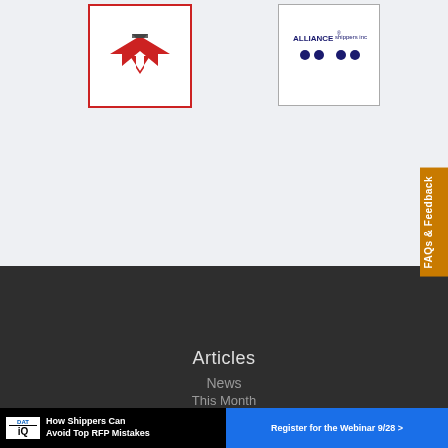[Figure (logo): Red-bordered logo with stylized wing/arrow shape in red and gray on white background]
[Figure (logo): Alliance Shippers Inc logo with dark blue dots on white background]
FAQs & Feedback
Articles
News
This Month
[Figure (infographic): DAT iQ advertisement banner: 'How Shippers Can Avoid Top RFP Mistakes' with 'Register for the Webinar 9/28 >' button]